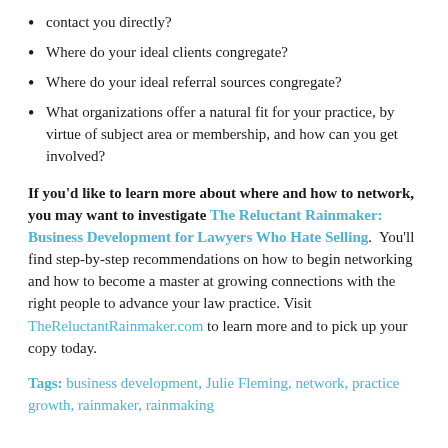contact you directly?
Where do your ideal clients congregate?
Where do your ideal referral sources congregate?
What organizations offer a natural fit for your practice, by virtue of subject area or membership, and how can you get involved?
If you'd like to learn more about where and how to network, you may want to investigate The Reluctant Rainmaker: Business Development for Lawyers Who Hate Selling. You'll find step-by-step recommendations on how to begin networking and how to become a master at growing connections with the right people to advance your law practice. Visit TheReluctantRainmaker.com to learn more and to pick up your copy today.
Tags: business development, Julie Fleming, network, practice growth, rainmaker, rainmaking